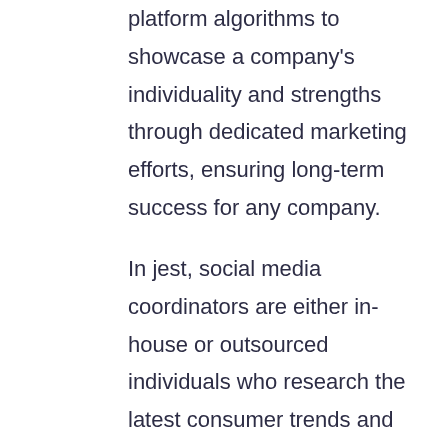platform algorithms to showcase a company's individuality and strengths through dedicated marketing efforts, ensuring long-term success for any company.
In jest, social media coordinators are either in-house or outsourced individuals who research the latest consumer trends and create useful quality